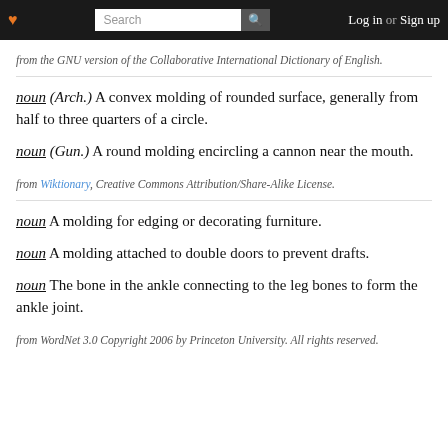Search | Log in or Sign up
from the GNU version of the Collaborative International Dictionary of English.
noun (Arch.) A convex molding of rounded surface, generally from half to three quarters of a circle.
noun (Gun.) A round molding encircling a cannon near the mouth.
from Wiktionary, Creative Commons Attribution/Share-Alike License.
noun A molding for edging or decorating furniture.
noun A molding attached to double doors to prevent drafts.
noun The bone in the ankle connecting to the leg bones to form the ankle joint.
from WordNet 3.0 Copyright 2006 by Princeton University. All rights reserved.